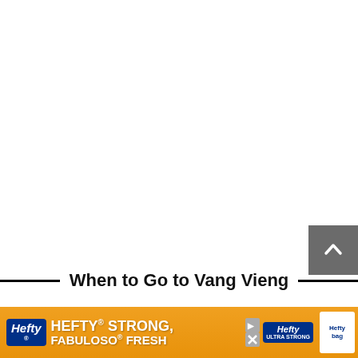[Figure (other): Large white blank area at the top of the page, likely a content/image area that is not rendered.]
[Figure (other): Gray scroll-to-top button with upward chevron arrow icon, positioned at right side.]
When to Go to Vang Vieng
Betw... time to vis... 's
[Figure (other): Advertisement banner for Hefty brand products: 'HEFTY STRONG, FABULOSO FRESH' on an orange background with Hefty and Fabuloso logos.]